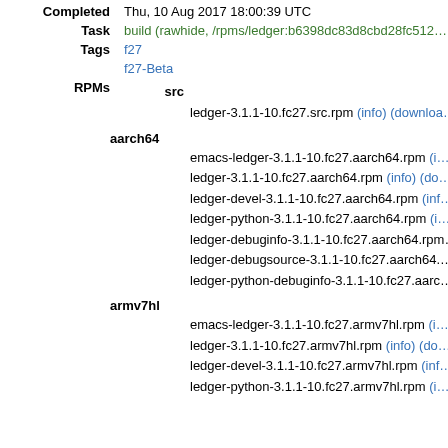Completed: Thu, 10 Aug 2017 18:00:39 UTC
Task: build (rawhide, /rpms/ledger:b6398dc83d8cbd28fc512...
Tags: f27, f27-Beta
RPMs: src: ledger-3.1.1-10.fc27.src.rpm (info) (download...)
aarch64: emacs-ledger-3.1.1-10.fc27.aarch64.rpm (i...) ledger-3.1.1-10.fc27.aarch64.rpm (info) (do...) ledger-devel-3.1.1-10.fc27.aarch64.rpm (inf...) ledger-python-3.1.1-10.fc27.aarch64.rpm (i...) ledger-debuginfo-3.1.1-10.fc27.aarch64.rpm... ledger-debugsource-3.1.1-10.fc27.aarch64... ledger-python-debuginfo-3.1.1-10.fc27.aarc...
armv7hl: emacs-ledger-3.1.1-10.fc27.armv7hl.rpm (i...) ledger-3.1.1-10.fc27.armv7hl.rpm (info) (do...) ledger-devel-3.1.1-10.fc27.armv7hl.rpm (inf...) ledger-python-3.1.1-10.fc27.armv7hl.rpm (i...)